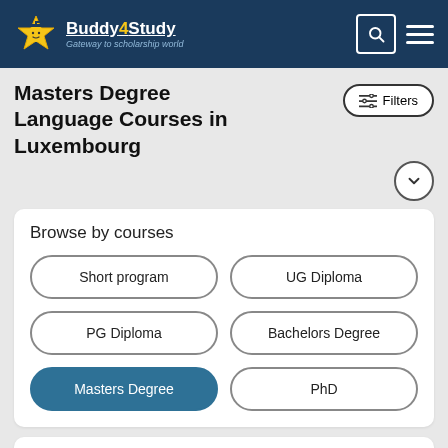[Figure (logo): Buddy4Study logo with star mascot and tagline 'Gateway to scholarship world']
Masters Degree Language Courses in Luxembourg
Filters
Browse by courses
Short program
UG Diploma
PG Diploma
Bachelors Degree
Masters Degree
PhD
Request Counselling